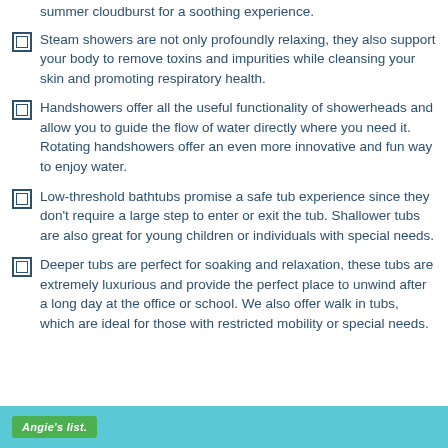summer cloudburst for a soothing experience.
Steam showers are not only profoundly relaxing, they also support your body to remove toxins and impurities while cleansing your skin and promoting respiratory health.
Handshowers offer all the useful functionality of showerheads and allow you to guide the flow of water directly where you need it. Rotating handshowers offer an even more innovative and fun way to enjoy water.
Low-threshold bathtubs promise a safe tub experience since they don't require a large step to enter or exit the tub. Shallower tubs are also great for young children or individuals with special needs.
Deeper tubs are perfect for soaking and relaxation, these tubs are extremely luxurious and provide the perfect place to unwind after a long day at the office or school. We also offer walk in tubs, which are ideal for those with restricted mobility or special needs.
Angie's list.